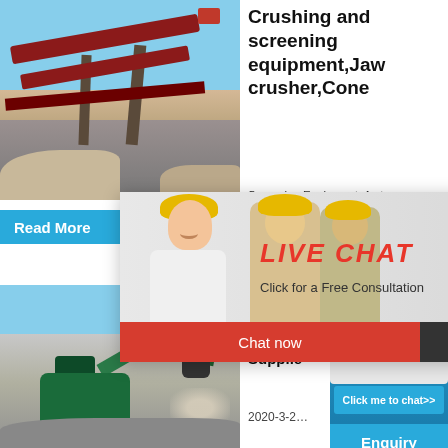[Figure (photo): Industrial crushing and screening equipment at a quarry site with conveyor belts and rock piles, blue sky background]
Crushing and screening equipment,Jaw crusher,Cone
Screening Equipment. As t…
Read More
hour online
[Figure (photo): Live chat popup with smiling woman wearing white shirt, background workers in yellow hard hats. Text: LIVE CHAT, Click for a Free Consultation. Buttons: Chat now, Chat later]
[Figure (photo): Jaw crusher machinery product photo on blue background with Click me to chat>> button, Enquiry button, and limingjlmofen text]
[Figure (photo): Excavator crushing rocks at a quarry, dust cloud visible, teal excavator machinery]
YIFAN C Machin Crushe Supplie
2020-3-2…